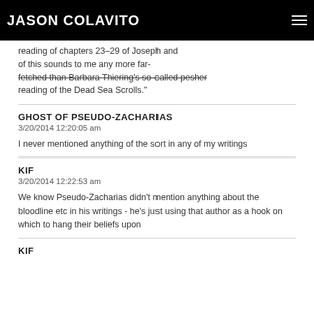JASON COLAVITO
reading of chapters 23-29 of Joseph and of this sounds to me any more far-fetched than Barbara Thiering's so-called pesher reading of the Dead Sea Scrolls."
GHOST OF PSEUDO-ZACHARIAS
3/20/2014 12:20:05 am
I never mentioned anything of the sort in any of my writings
KIF
3/20/2014 12:22:53 am
We know Pseudo-Zacharias didn't mention anything about the bloodline etc in his writings - he's just using that author as a hook on which to hang their beliefs upon
KIF